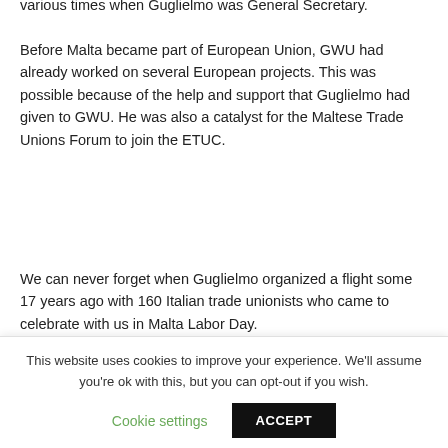various times when Guglielmo was General Secretary.
Before Malta became part of European Union, GWU had already worked on several European projects. This was possible because of the help and support that Guglielmo had given to GWU. He was also a catalyst for the Maltese Trade Unions Forum to join the ETUC.
We can never forget when Guglielmo organized a flight some 17 years ago with 160 Italian trade unionists who came to celebrate with us in Malta Labor Day.
This website uses cookies to improve your experience. We'll assume you're ok with this, but you can opt-out if you wish.